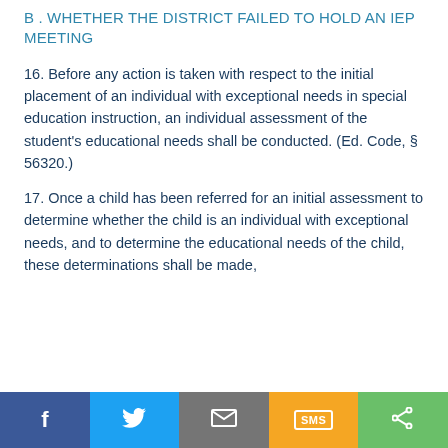B . WHETHER THE DISTRICT FAILED TO HOLD AN IEP MEETING
16. Before any action is taken with respect to the initial placement of an individual with exceptional needs in special education instruction, an individual assessment of the student's educational needs shall be conducted. (Ed. Code, § 56320.)
17. Once a child has been referred for an initial assessment to determine whether the child is an individual with exceptional needs, and to determine the educational needs of the child, these determinations shall be made,
[Figure (other): Social sharing bar with buttons for Facebook, Twitter, Email, SMS, and Share]